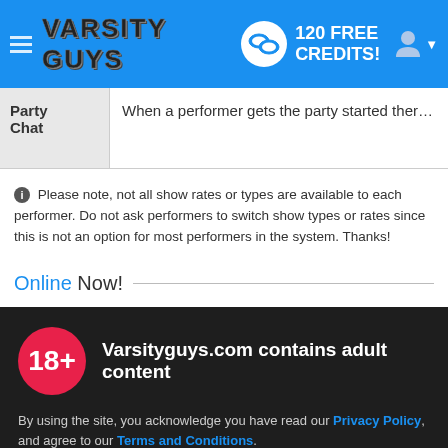VARSITY GUYS — 120 FREE CREDITS!
| Party Chat | Description |
| --- | --- |
| Party Chat | When a performer gets the party started there are no holds barred! B... |
Please note, not all show rates or types are available to each performer. Do not ask performers to switch show types or rates since this is not an option for most performers in the system. Thanks!
Online Now!
18+
Varsityguys.com contains adult content
By using the site, you acknowledge you have read our Privacy Policy, and agree to our Terms and Conditions.
We use cookies to optimize your experience, analyze traffic, and deliver more personalized service. To learn more, please see our Privacy Policy.
I AGREE